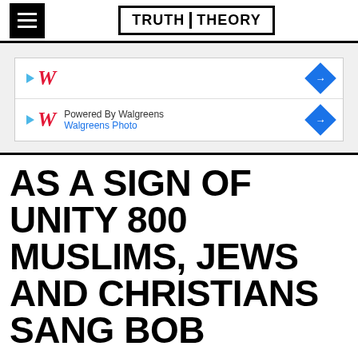TRUTH THEORY
[Figure (screenshot): Advertisement banner: Walgreens Photo ad with two rows showing the Walgreens cursive W logo, 'Powered By Walgreens', 'Walgreens Photo', blue play triangles, and blue diamond arrow buttons]
AS A SIGN OF UNITY 800 MUSLIMS, JEWS AND CHRISTIANS SANG BOB